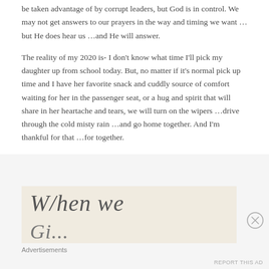be taken advantage of by corrupt leaders, but God is in control. We may not get answers to our prayers in the way and timing we want ...but He does hear us ...and He will answer.
The reality of my 2020 is- I don't know what time I'll pick my daughter up from school today. But, no matter if it's normal pick up time and I have her favorite snack and cuddly source of comfort waiting for her in the passenger seat, or a hug and spirit that will share in her heartache and tears, we will turn on the wipers ...drive through the cold misty rain ...and go home together. And I'm thankful for that ...for together.
[Figure (other): Advertisement image with cursive/handwritten text reading 'When we' on a light beige background, partially cut off at bottom]
Advertisements
REPORT THIS AD